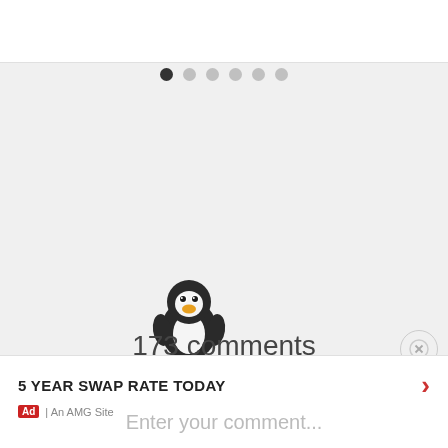[Figure (screenshot): Pagination dots row with first dot filled dark and five dots light gray]
173 comments
Newest ▾  comments first
[Figure (illustration): Penguin emoji / mascot icon]
5 YEAR SWAP RATE TODAY
Ad | An AMG Site
Enter your comment...